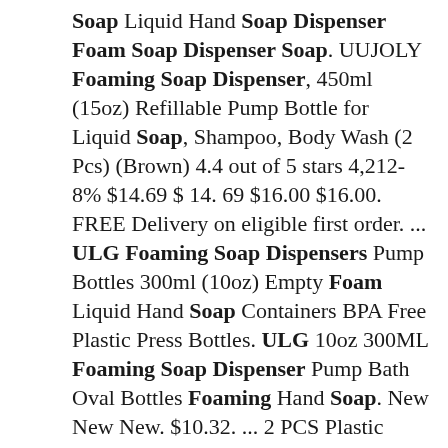Soap Liquid Hand Soap Dispenser Foam Soap Dispenser Soap. UUJOLY Foaming Soap Dispenser, 450ml (15oz) Refillable Pump Bottle for Liquid Soap, Shampoo, Body Wash (2 Pcs) (Brown) 4.4 out of 5 stars 4,212-8% $14.69 $ 14. 69 $16.00 $16.00. FREE Delivery on eligible first order. ... ULG Foaming Soap Dispensers Pump Bottles 300ml (10oz) Empty Foam Liquid Hand Soap Containers BPA Free Plastic Press Bottles. ULG 10oz 300ML Foaming Soap Dispenser Pump Bath Oval Bottles Foaming Hand Soap. New New New. $10.32. ... 2 PCS Plastic Foaming Soap Dispenser Pump Bottle for Liquid Soap Washing Liquid. New New New. $6.26. $6.59 previous price $6.59 5% off 5% off previous price $6.59 5% off. Free shipping Free shipping Free shipping. Rajshahi sugarcane gur is prepared entirely from organic ingredients. This